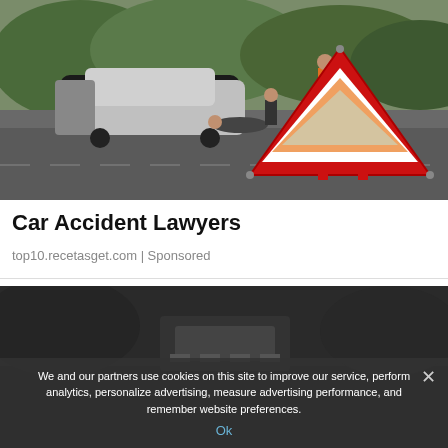[Figure (photo): Car accident scene on a road with a red warning triangle in the foreground and a crashed vehicle with people in the background]
Car Accident Lawyers
top10.recetasget.com | Sponsored
[Figure (photo): Partial view of a dark scene, appears to be a second advertisement image]
We and our partners use cookies on this site to improve our service, perform analytics, personalize advertising, measure advertising performance, and remember website preferences.
Ok